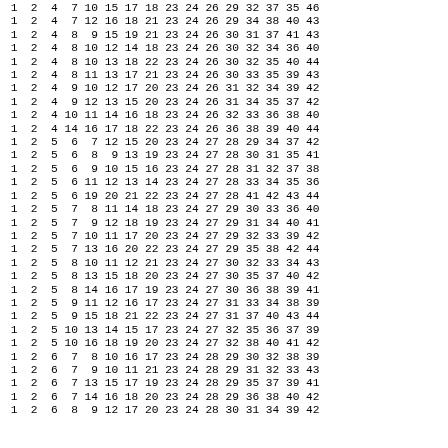| 1 | 2 | 4 | 7 | 10 | 15 | 17 | 18 | 23 | 24 | 26 | 29 | 32 | 37 | 35 | 46 |
| 1 | 2 | 4 | 7 | 12 | 16 | 18 | 21 | 23 | 24 | 26 | 29 | 34 | 38 | 40 | 43 |
| 1 | 2 | 4 | 8 | 9 | 15 | 19 | 21 | 23 | 24 | 26 | 30 | 31 | 37 | 41 | 43 |
| 1 | 2 | 4 | 8 | 10 | 12 | 14 | 18 | 23 | 24 | 26 | 30 | 32 | 34 | 36 | 40 |
| 1 | 2 | 4 | 8 | 10 | 13 | 18 | 22 | 23 | 24 | 26 | 30 | 32 | 35 | 40 | 44 |
| 1 | 2 | 4 | 8 | 11 | 13 | 17 | 21 | 23 | 24 | 26 | 30 | 33 | 35 | 39 | 43 |
| 1 | 2 | 4 | 9 | 10 | 12 | 17 | 20 | 23 | 24 | 26 | 31 | 32 | 34 | 39 | 42 |
| 1 | 2 | 4 | 9 | 12 | 13 | 15 | 20 | 23 | 24 | 26 | 31 | 34 | 35 | 37 | 42 |
| 1 | 2 | 4 | 10 | 11 | 14 | 16 | 18 | 23 | 24 | 26 | 32 | 33 | 36 | 38 | 40 |
| 1 | 2 | 4 | 14 | 16 | 17 | 18 | 22 | 23 | 24 | 26 | 36 | 38 | 39 | 40 | 44 |
| 1 | 2 | 5 | 6 | 7 | 12 | 15 | 20 | 23 | 24 | 27 | 28 | 29 | 34 | 37 | 42 |
| 1 | 2 | 5 | 6 | 8 | 9 | 13 | 19 | 23 | 24 | 27 | 28 | 30 | 31 | 35 | 41 |
| 1 | 2 | 5 | 6 | 9 | 10 | 15 | 16 | 23 | 24 | 27 | 28 | 31 | 32 | 37 | 38 |
| 1 | 2 | 5 | 6 | 11 | 12 | 13 | 14 | 23 | 24 | 27 | 28 | 33 | 34 | 35 | 36 |
| 1 | 2 | 5 | 6 | 19 | 20 | 21 | 22 | 23 | 24 | 27 | 28 | 41 | 42 | 43 | 44 |
| 1 | 2 | 5 | 7 | 8 | 11 | 14 | 18 | 23 | 24 | 27 | 29 | 30 | 33 | 36 | 40 |
| 1 | 2 | 5 | 7 | 9 | 12 | 18 | 19 | 23 | 24 | 27 | 29 | 31 | 34 | 40 | 41 |
| 1 | 2 | 5 | 7 | 10 | 11 | 17 | 20 | 23 | 24 | 27 | 29 | 32 | 33 | 39 | 42 |
| 1 | 2 | 5 | 7 | 13 | 16 | 20 | 22 | 23 | 24 | 27 | 29 | 35 | 38 | 42 | 44 |
| 1 | 2 | 5 | 8 | 10 | 11 | 12 | 21 | 23 | 24 | 27 | 30 | 32 | 33 | 34 | 43 |
| 1 | 2 | 5 | 8 | 13 | 15 | 18 | 20 | 23 | 24 | 27 | 30 | 35 | 37 | 40 | 42 |
| 1 | 2 | 5 | 8 | 14 | 16 | 17 | 19 | 23 | 24 | 27 | 30 | 36 | 38 | 39 | 41 |
| 1 | 2 | 5 | 9 | 11 | 12 | 16 | 17 | 23 | 24 | 27 | 31 | 33 | 34 | 38 | 39 |
| 1 | 2 | 5 | 9 | 15 | 18 | 21 | 22 | 23 | 24 | 27 | 31 | 37 | 40 | 43 | 44 |
| 1 | 2 | 5 | 10 | 13 | 14 | 15 | 17 | 23 | 24 | 27 | 32 | 35 | 36 | 37 | 39 |
| 1 | 2 | 5 | 10 | 16 | 18 | 19 | 20 | 23 | 24 | 27 | 32 | 38 | 40 | 41 | 42 |
| 1 | 2 | 6 | 7 | 8 | 10 | 16 | 17 | 23 | 24 | 28 | 29 | 30 | 32 | 38 | 39 |
| 1 | 2 | 6 | 7 | 9 | 10 | 11 | 21 | 23 | 24 | 28 | 29 | 31 | 32 | 33 | 43 |
| 1 | 2 | 6 | 7 | 13 | 15 | 17 | 19 | 23 | 24 | 28 | 29 | 35 | 37 | 39 | 41 |
| 1 | 2 | 6 | 7 | 14 | 16 | 18 | 20 | 23 | 24 | 28 | 29 | 36 | 38 | 40 | 42 |
| 1 | 2 | 6 | 8 | 9 | 12 | 17 | 20 | 23 | 24 | 28 | 30 | 31 | 34 | 39 | 42 |